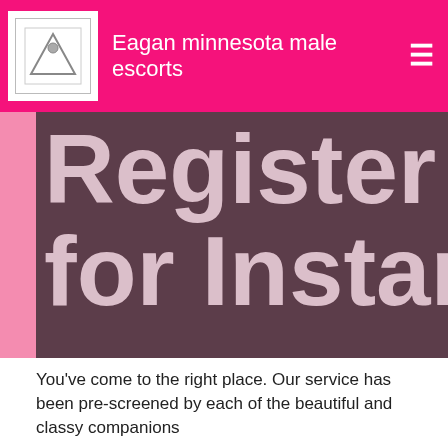Eagan minnesota male escorts
[Figure (illustration): Large dark mauve/brown banner with partially visible white bold text reading 'Register No' on first line and 'for Instant Ac' on second line, cropped at right edge]
You've come to the right place. Our service has been pre-screened by each of the beautiful and classy companions